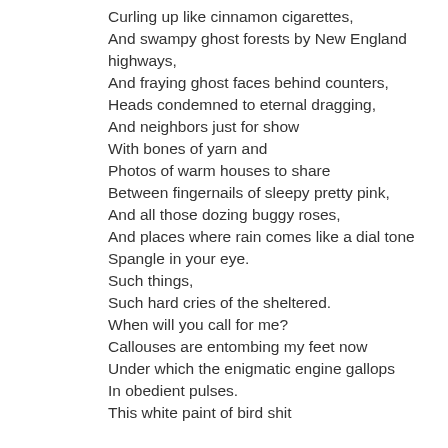Curling up like cinnamon cigarettes,
And swampy ghost forests by New England highways,
And fraying ghost faces behind counters,
Heads condemned to eternal dragging,
And neighbors just for show
With bones of yarn and
Photos of warm houses to share
Between fingernails of sleepy pretty pink,
And all those dozing buggy roses,
And places where rain comes like a dial tone
Spangle in your eye.
Such things,
Such hard cries of the sheltered.
When will you call for me?
Callouses are entombing my feet now
Under which the enigmatic engine gallops
In obedient pulses.
This white paint of bird shit